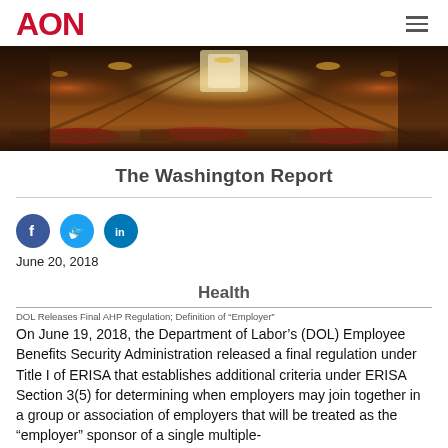AON
[Figure (photo): Wide panoramic photo of a grand ornate hall with dark wood paneling, chandeliers, arched windows, and red floral decorations on long tables.]
The Washington Report
[Figure (infographic): Social media share icons: Facebook (blue circle with f), Twitter (light blue circle with bird), LinkedIn (blue circle with in)]
June 20, 2018
Health
DOL Releases Final AHP Regulation; Definition of “Employer”
On June 19, 2018, the Department of Labor’s (DOL) Employee Benefits Security Administration released a final regulation under Title I of ERISA that establishes additional criteria under ERISA Section 3(5) for determining when employers may join together in a group or association of employers that will be treated as the “employer” sponsor of a single multiple-